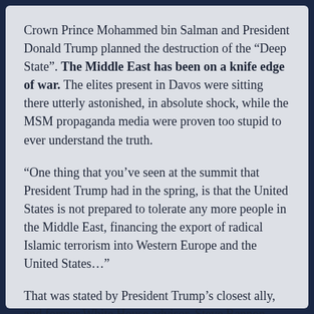Crown Prince Mohammed bin Salman and President Donald Trump planned the destruction of the “Deep State”. The Middle East has been on a knife edge of war. The elites present in Davos were sitting there utterly astonished, in absolute shock, while the MSM propaganda media were proven too stupid to ever understand the truth.
“One thing that you’ve seen at the summit that President Trump had in the spring, is that the United States is not prepared to tolerate any more people in the Middle East, financing the export of radical Islamic terrorism into Western Europe and the United States…”
That was stated by President Trump’s closest ally, and former White House advisor, Steve Bannon.